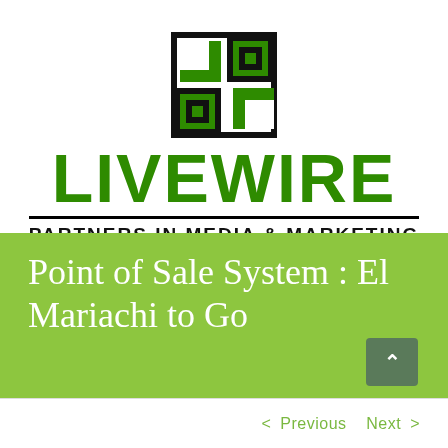[Figure (logo): Livewire Partners in Media & Marketing logo with geometric green and black icon above bold green LIVEWIRE text and tagline PARTNERS IN MEDIA & MARKETING]
Point of Sale System : El Mariachi to Go
< Previous   Next >